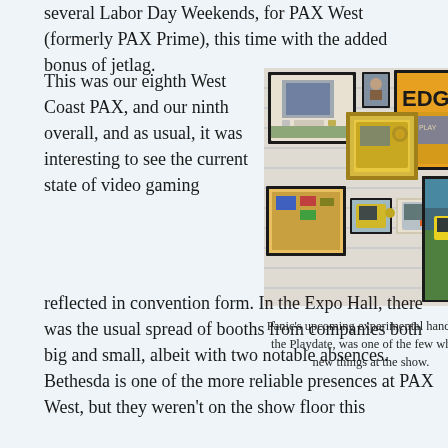several Labor Day Weekends, for PAX West (formerly PAX Prime), this time with the added bonus of jetlag.
This was our eighth West Coast PAX, and our ninth overall, and as usual, it was interesting to see the current state of video gaming reflected in convention form. In the Expo Hall, there was the usual spread of booths from companies both big and small, albeit with two notable absences. Bethesda is one of the more reliable presences at PAX West, but they weren't on the show floor this
[Figure (photo): A gallery wall of framed photographs and artwork featuring gaming hardware and magazines, including what appears to be a Playdate handheld device among other framed items arranged on a white brick wall.]
Panic's upcoming experimental handheld, the Playdate, was one of the few wholly new things at the show.